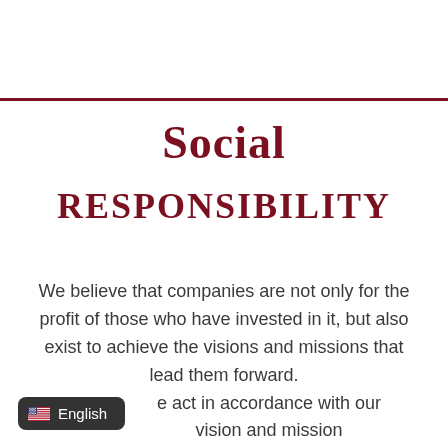Social Responsibility
We believe that companies are not only for the profit of those who have invested in it, but also exist to achieve the visions and missions that lead them forward.
e act in accordance with our vision and mission